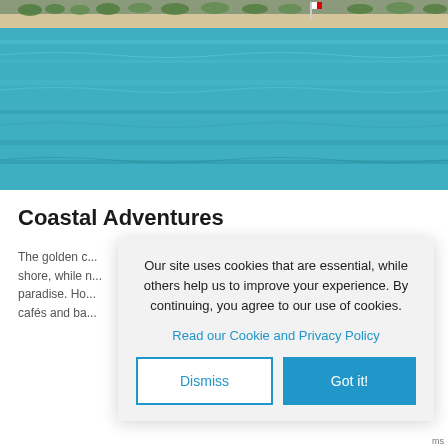[Figure (photo): Aerial coastal photo showing turquoise-blue ocean water with a sandy beach and urban shoreline in the background, with a flag visible.]
Coastal Adventures
The golden c... shore, while n... paradise. Ho... cafés and ba...
Our site uses cookies that are essential, while others help us to improve your experience. By continuing, you agree to our use of cookies.
Read our Cookie and Privacy Policy
Dismiss
Got it!